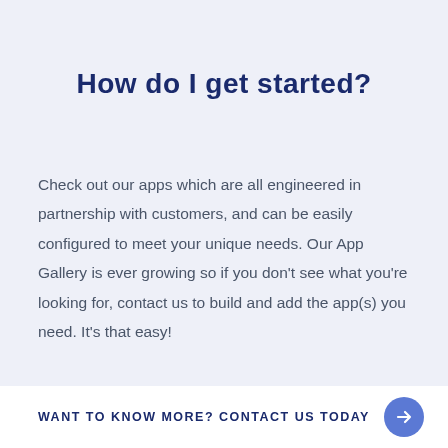How do I get started?
Check out our apps which are all engineered in partnership with customers, and can be easily configured to meet your unique needs. Our App Gallery is ever growing so if you don't see what you're looking for, contact us to build and add the app(s) you need. It's that easy!
WANT TO KNOW MORE? CONTACT US TODAY →